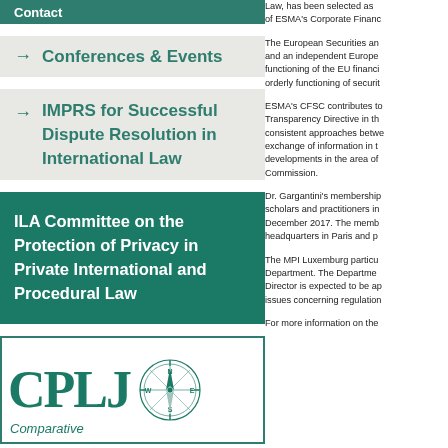Contact
→ Conferences & Events
→ IMPRS for Successful Dispute Resolution in International Law
ILA Committee on the Protection of Privacy in Private International and Procedural Law
[Figure (logo): CPLJ logo with compass rose and text 'Comparative' below]
Law, has been selected as of ESMA's Corporate Finance
The European Securities and an independent Europe functioning of the EU financi orderly functioning of securit
ESMA's CFSC contributes to Transparency Directive in th consistent approaches betwe exchange of information in t developments in the area of Commission.
Dr. Gargantini's membership scholars and practitioners in December 2017. The memb headquarters in Paris and p
The MPI Luxemburg particu Department. The Departme Director is expected to be a issues concerning regulation
For more information on the